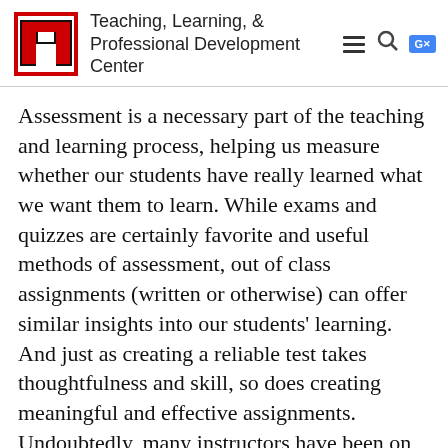Teaching, Learning, & Professional Development Center
Assessment is a necessary part of the teaching and learning process, helping us measure whether our students have really learned what we want them to learn. While exams and quizzes are certainly favorite and useful methods of assessment, out of class assignments (written or otherwise) can offer similar insights into our students' learning.  And just as creating a reliable test takes thoughtfulness and skill, so does creating meaningful and effective assignments. Undoubtedly, many instructors have been on the receiving end of disappointing student work, left wondering what went wrong… and often, those problems can be remedied in the future by some simple fine-tuning of the original